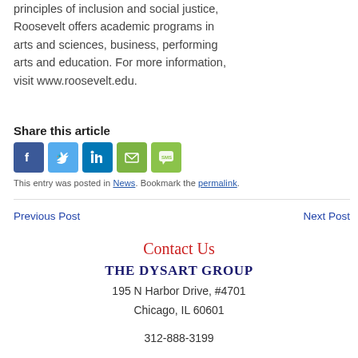principles of inclusion and social justice, Roosevelt offers academic programs in arts and sciences, business, performing arts and education. For more information, visit www.roosevelt.edu.
Share this article
[Figure (other): Social share buttons: Facebook, Twitter, LinkedIn, Email, SMS]
This entry was posted in News. Bookmark the permalink.
Previous Post   Next Post
Contact Us
The Dysart Group
195 N Harbor Drive, #4701
Chicago, IL 60601
312-888-3199